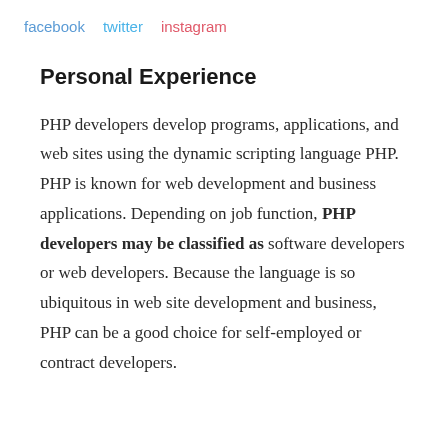facebook   twitter   instagram
Personal Experience
PHP developers develop programs, applications, and web sites using the dynamic scripting language PHP. PHP is known for web development and business applications. Depending on job function, PHP developers may be classified as software developers or web developers. Because the language is so ubiquitous in web site development and business, PHP can be a good choice for self-employed or contract developers.